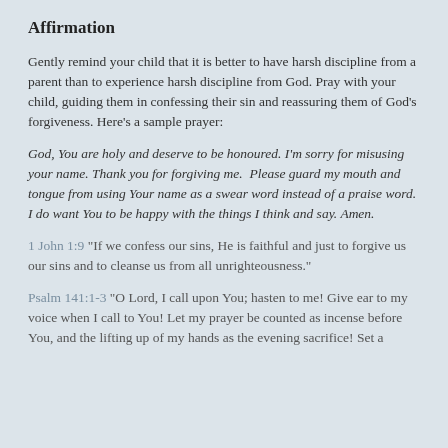Affirmation
Gently remind your child that it is better to have harsh discipline from a parent than to experience harsh discipline from God. Pray with your child, guiding them in confessing their sin and reassuring them of God’s forgiveness. Here’s a sample prayer:
God, You are holy and deserve to be honoured. I’m sorry for misusing your name. Thank you for forgiving me.  Please guard my mouth and tongue from using Your name as a swear word instead of a praise word. I do want You to be happy with the things I think and say. Amen.
1 John 1:9 “If we confess our sins, He is faithful and just to forgive us our sins and to cleanse us from all unrighteousness.”
Psalm 141:1-3 “O Lord, I call upon You; hasten to me! Give ear to my voice when I call to You! Let my prayer be counted as incense before You, and the lifting up of my hands as the evening sacrifice! Set a